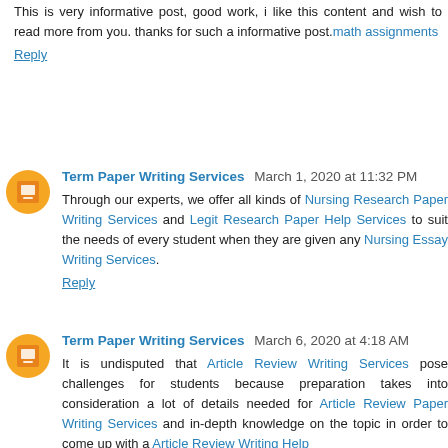This is very informative post, good work, i like this content and wish to read more from you. thanks for such a informative post. math assignments
Reply
Term Paper Writing Services  March 1, 2020 at 11:32 PM
Through our experts, we offer all kinds of Nursing Research Paper Writing Services and Legit Research Paper Help Services to suit the needs of every student when they are given any Nursing Essay Writing Services.
Reply
Term Paper Writing Services  March 6, 2020 at 4:18 AM
It is undisputed that Article Review Writing Services pose challenges for students because preparation takes into consideration a lot of details needed for Article Review Paper Writing Services and in-depth knowledge on the topic in order to come up with a Article Review Writing Help